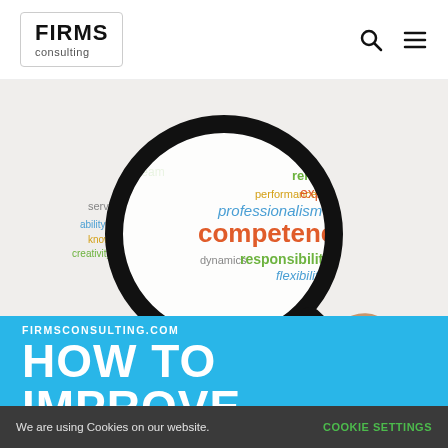FIRMS consulting
[Figure (illustration): A hand holding a magnifying glass over a word cloud featuring words like competence, professionalism, responsibility, flexibility, reliability, experience, service, ability, knowledge, creativity, dynamics, performance, teamwork, strategy]
FIRMSCONSULTING.COM
HOW TO IMPROVE
We are using Cookies on our website.   COOKIE SETTINGS